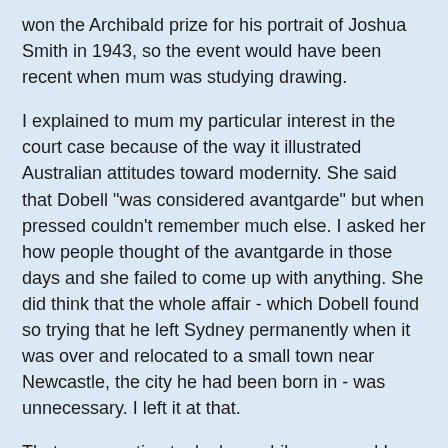won the Archibald prize for his portrait of Joshua Smith in 1943, so the event would have been recent when mum was studying drawing.
I explained to mum my particular interest in the court case because of the way it illustrated Australian attitudes toward modernity. She said that Dobell "was considered avantgarde" but when pressed couldn't remember much else. I asked her how people thought of the avantgarde in those days and she failed to come up with anything. She did think that the whole affair - which Dobell found so trying that he left Sydney permanently when it was over and relocated to a small town near Newcastle, the city he had been born in - was unnecessary. I left it at that.
That conversation took place while mum and I were sitting in the park this morning. After a while the sun became a bit hot for her so we went inside and she slept for 45 minutes or so. Then we went to lunch and sat with H as we often do. H explained how she had been poked in the eye by a staff member this morning while she was being bathed. "It frightened me," she said. I didn't tell her that I had heard her